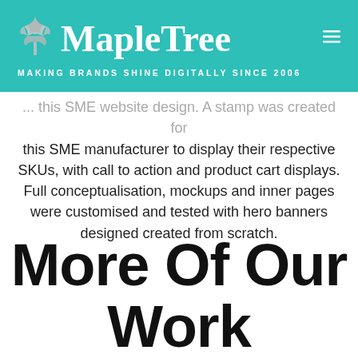MapleTree — MAKING BRANDS SHINE DIGITALLY SINCE 2006
... this SME website design. A stamp was created for this SME manufacturer to display their respective SKUs, with call to action and product cart displays. Full conceptualisation, mockups and inner pages were customised and tested with hero banners designed created from scratch.
More Of Our Work